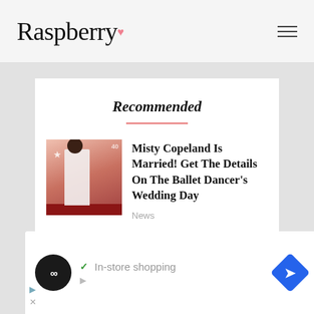Raspberry
Recommended
Misty Copeland Is Married! Get The Details On The Ballet Dancer's Wedding Day
News
[Figure (screenshot): Advertisement banner with shopping app icon, In-store shopping text with checkmark, and navigation arrow icon]